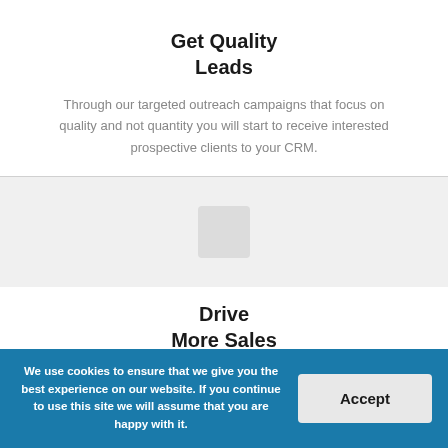Get Quality Leads
Through our targeted outreach campaigns that focus on quality and not quantity you will start to receive interested prospective clients to your CRM.
[Figure (illustration): Light gray placeholder icon area in a light gray background section]
Drive More Sales
We will also assist you in converting those leads into
We use cookies to ensure that we give you the best experience on our website. If you continue to use this site we will assume that you are happy with it.